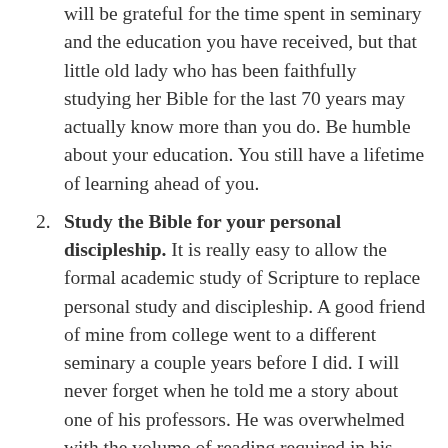will be grateful for the time spent in seminary and the education you have received, but that little old lady who has been faithfully studying her Bible for the last 70 years may actually know more than you do. Be humble about your education. You still have a lifetime of learning ahead of you.
Study the Bible for your personal discipleship. It is really easy to allow the formal academic study of Scripture to replace personal study and discipleship. A good friend of mine from college went to a different seminary a couple years before I did. I will never forget when he told me a story about one of his professors. He was overwhelmed with the volume of reading required in his classes so he sought out one